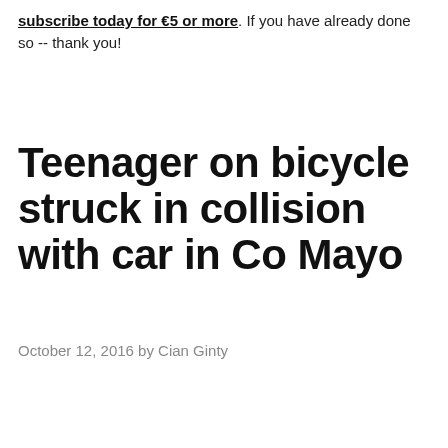subscribe today for €5 or more. If you have already done so -- thank you!
Teenager on bicycle struck in collision with car in Co Mayo
October 12, 2016 by Cian Ginty